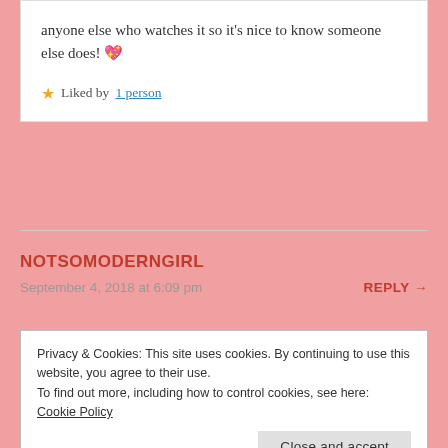anyone else who watches it so it's nice to know someone else does! 💖
⭐ Liked by 1 person
NOTSOMODERNGIRL
September 4, 2018 at 6:09 pm
REPLY →
Privacy & Cookies: This site uses cookies. By continuing to use this website, you agree to their use.
To find out more, including how to control cookies, see here: Cookie Policy
Close and accept